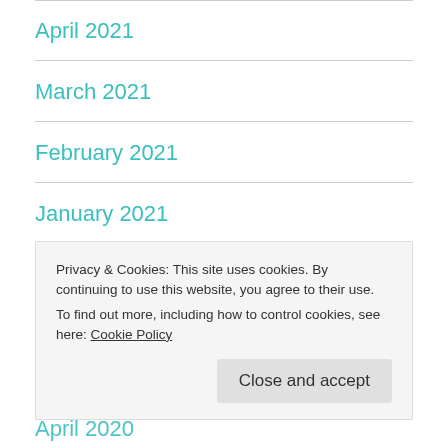April 2021
March 2021
February 2021
January 2021
July 2020
Privacy & Cookies: This site uses cookies. By continuing to use this website, you agree to their use.
To find out more, including how to control cookies, see here: Cookie Policy
Close and accept
April 2020